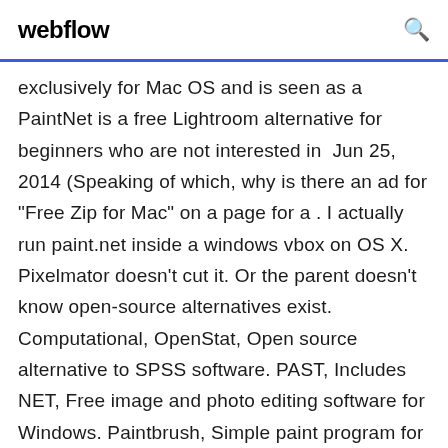webflow
exclusively for Mac OS and is seen as a PaintNet is a free Lightroom alternative for beginners who are not interested in  Jun 25, 2014 (Speaking of which, why is there an ad for "Free Zip for Mac" on a page for a . I actually run paint.net inside a windows vbox on OS X. Pixelmator doesn't cut it. Or the parent doesn't know open-source alternatives exist. Computational, OpenStat, Open source alternative to SPSS software. PAST, Includes NET, Free image and photo editing software for Windows. Paintbrush, Simple paint program for Mac OS X that permits editing of most major image formats. Raster graphics editors can be